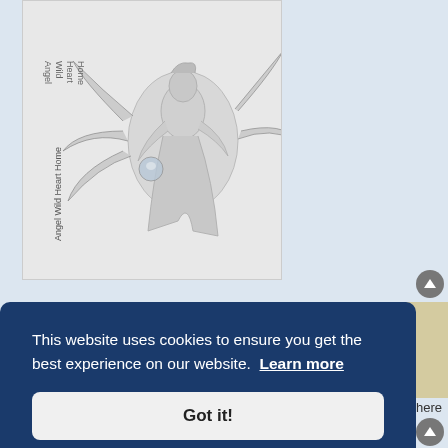[Figure (illustration): Angel or fantasy figure illustration with wings, vertical text reading 'Angel Wild Heart Home' on left side, pencil/sketch style drawing on light background]
myownalias
Mod
Re: myownalias' World of F1 [myBLOG-Online >> Formula 1]
15 Jul 18, 07:08
This website uses cookies to ensure you get the best experience on our website. Learn more
Got it!
myownalias · The Englishman In Kansas · Twitter: @myownalias